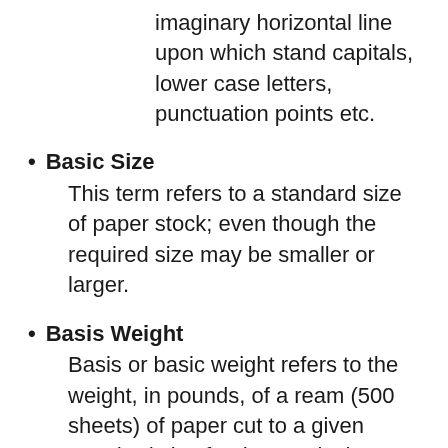imaginary horizontal line upon which stand capitals, lower case letters, punctuation points etc.
Basic Size
This term refers to a standard size of paper stock; even though the required size may be smaller or larger.
Basis Weight
Basis or basic weight refers to the weight, in pounds, of a ream (500 sheets) of paper cut to a given standard size for that particular paper grade.
Bauhaus
A design school in Germany and...